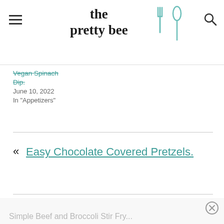the pretty bee
Vegan Spinach Dip.
June 10, 2022
In "Appetizers"
« Easy Chocolate Covered Pretzels.
Simple Beef and Broccoli Stir Fry...